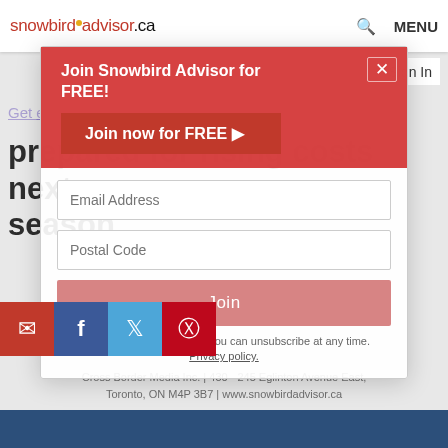snowbirdadvisor.ca   🔍   MENU
[Figure (screenshot): Website screenshot of snowbirdadvisor.ca with a modal signup dialog overlapping the page. The modal has a red header reading 'Join Snowbird Advisor for FREE!' with a red 'Join now for FREE ▶' button. The background shows an article headline 'prepared for rising costs next season' and 'Get exclusive Canadian snowbird' text. There are form fields for Email Address and Postal Code, a Join button, and social share icons (email, Facebook, Twitter, Pinterest). Footer reads 'Cross Border Media Inc. | 430 - 245 Eglinton Avenue East, Toronto, ON M4P 3B7 | www.snowbirdadvisor.ca']
Get exclusive Canadian snowbird
prepared for rising costs next season
FINANCES
We keep your e-mail safe. You can unsubscribe at any time.
Privacy policy.
Cross Border Media Inc. | 430 - 245 Eglinton Avenue East, Toronto, ON M4P 3B7 | www.snowbirdadvisor.ca